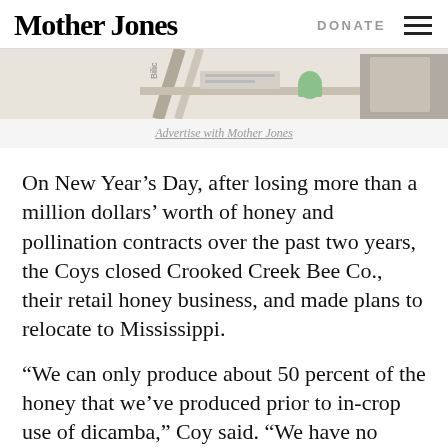Mother Jones | DONATE
[Figure (illustration): Partial advertisement banner image showing an illustrated desk scene, with text 'Advertise with Mother Jones' below]
Advertise with Mother Jones
On New Year’s Day, after losing more than a million dollars’ worth of honey and pollination contracts over the past two years, the Coys closed Crooked Creek Bee Co., their retail honey business, and made plans to relocate to Mississippi.
“We can only produce about 50 percent of the honey that we’ve produced prior to in-crop use of dicamba,” Coy said. “We have no choice but to leave Arkansas.”
This was confirmed by Mindy Coy, who also said...